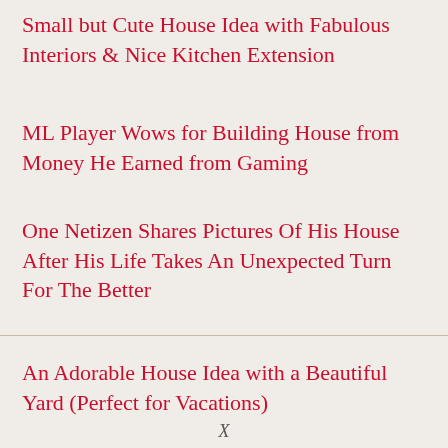Small but Cute House Idea with Fabulous Interiors & Nice Kitchen Extension
ML Player Wows for Building House from Money He Earned from Gaming
One Netizen Shares Pictures Of His House After His Life Takes An Unexpected Turn For The Better
An Adorable House Idea with a Beautiful Yard (Perfect for Vacations)
X